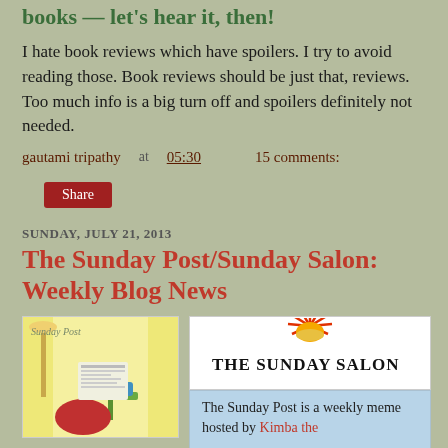books — let's hear it, then!
I hate book reviews which have spoilers. I try to avoid reading those. Book reviews should be just that, reviews. Too much info is a big turn off and spoilers definitely not needed.
gautami tripathy at 05:30   15 comments:
Share
SUNDAY, JULY 21, 2013
The Sunday Post/Sunday Salon: Weekly Blog News
[Figure (illustration): Sunday Post illustration showing a person reading a newspaper with a teacup and lamp]
[Figure (logo): The Sunday Salon logo with sunburst graphic above serif text]
The Sunday Post is a weekly meme hosted by Kimba the